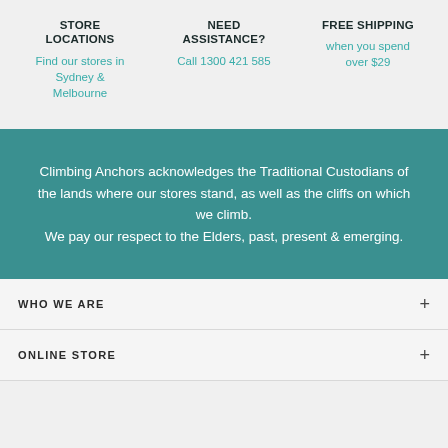STORE LOCATIONS
Find our stores in Sydney & Melbourne
NEED ASSISTANCE?
Call 1300 421 585
FREE SHIPPING
when you spend over $29
Climbing Anchors acknowledges the Traditional Custodians of the lands where our stores stand, as well as the cliffs on which we climb. We pay our respect to the Elders, past, present & emerging.
WHO WE ARE
ONLINE STORE